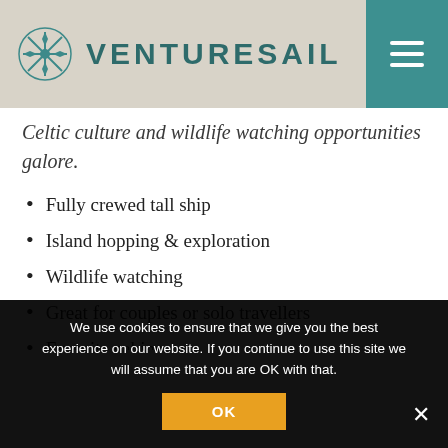VENTURESAIL
Celtic culture and wildlife watching opportunities galore.
Fully crewed tall ship
Island hopping & exploration
Wildlife watching
Great for couples or solo travellers
En-suite cabins
Suitable for beginners
We use cookies to ensure that we give you the best experience on our website. If you continue to use this site we will assume that you are OK with that.